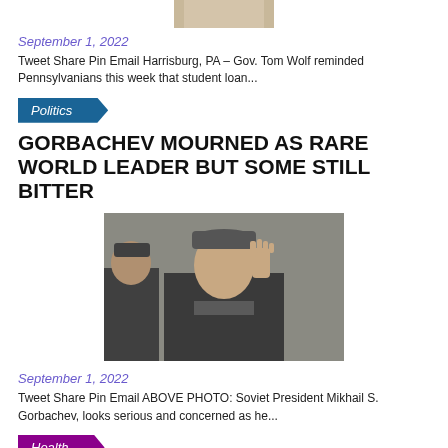[Figure (photo): Top of page partial photo cropped - person in white]
September 1, 2022
Tweet Share Pin Email Harrisburg, PA – Gov. Tom Wolf reminded Pennsylvanians this week that student loan...
Politics
GORBACHEV MOURNED AS RARE WORLD LEADER BUT SOME STILL BITTER
[Figure (photo): Soviet President Mikhail Gorbachev waving hand, wearing hat and dark coat]
September 1, 2022
Tweet Share Pin Email ABOVE PHOTO: Soviet President Mikhail S. Gorbachev, looks serious and concerned as he...
Health
US DATA REVEALS RACIAL GAPS